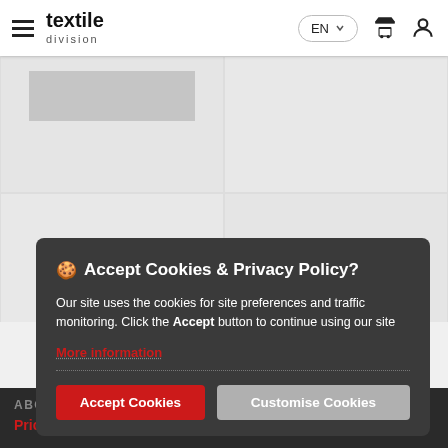textile division | EN | cart | user
[Figure (screenshot): Product grid showing two product card placeholders with grey image areas on a light grey background]
LOAD MORE PRODUCTS
🍪 Accept Cookies & Privacy Policy?

Our site uses the cookies for site preferences and traffic monitoring. Click the Accept button to continue using our site
More information
Accept Cookies   Customise Cookies
ABOUT
Prices